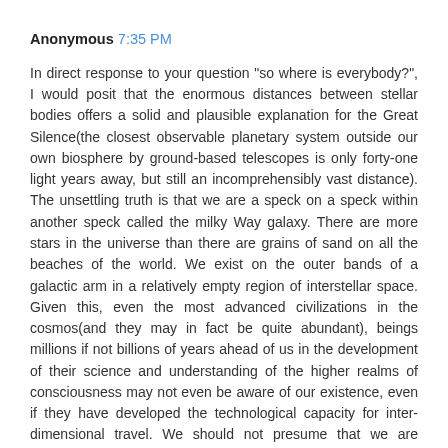Anonymous 7:35 PM
In direct response to your question "so where is everybody?", I would posit that the enormous distances between stellar bodies offers a solid and plausible explanation for the Great Silence(the closest observable planetary system outside our own biosphere by ground-based telescopes is only forty-one light years away, but still an incomprehensibly vast distance). The unsettling truth is that we are a speck on a speck within another speck called the milky Way galaxy. There are more stars in the universe than there are grains of sand on all the beaches of the world. We exist on the outer bands of a galactic arm in a relatively empty region of interstellar space. Given this, even the most advanced civilizations in the cosmos(and they may in fact be quite abundant), beings millions if not billions of years ahead of us in the development of their science and understanding of the higher realms of consciousness may not even be aware of our existence, even if they have developed the technological capacity for inter-dimensional travel. We should not presume that we are anything more than practically invisible, just as our